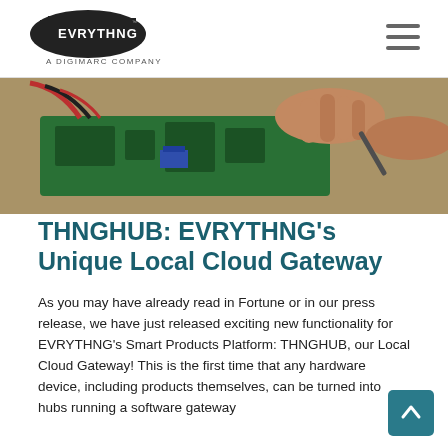EVRYTHNG - A DIGIMARC COMPANY
[Figure (photo): Close-up photo of hands working on a green circuit board with electronic components and cables.]
THNGHUB: EVRYTHNG’s Unique Local Cloud Gateway
As you may have already read in Fortune or in our press release, we have just released exciting new functionality for EVRYTHNG’s Smart Products Platform: THNGHUB, our Local Cloud Gateway! This is the first time that any hardware device, including products themselves, can be turned into hubs running a software gateway